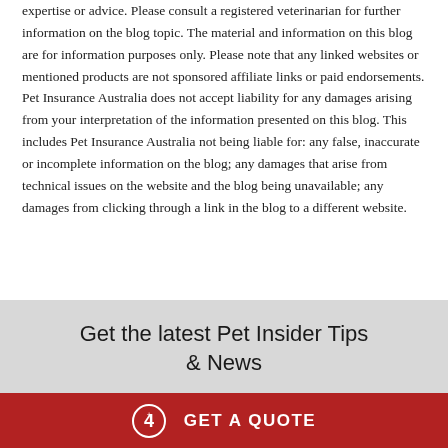expertise or advice. Please consult a registered veterinarian for further information on the blog topic. The material and information on this blog are for information purposes only. Please note that any linked websites or mentioned products are not sponsored affiliate links or paid endorsements. Pet Insurance Australia does not accept liability for any damages arising from your interpretation of the information presented on this blog. This includes Pet Insurance Australia not being liable for: any false, inaccurate or incomplete information on the blog; any damages that arise from technical issues on the website and the blog being unavailable; any damages from clicking through a link in the blog to a different website.
Get the latest Pet Insider Tips & News
GET A QUOTE